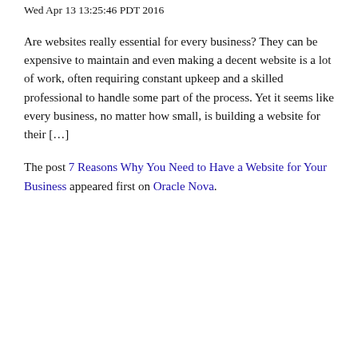Wed Apr 13 13:25:46 PDT 2016
Are websites really essential for every business? They can be expensive to maintain and even making a decent website is a lot of work, often requiring constant upkeep and a skilled professional to handle some part of the process. Yet it seems like every business, no matter how small, is building a website for their […]
The post 7 Reasons Why You Need to Have a Website for Your Business appeared first on Oracle Nova.